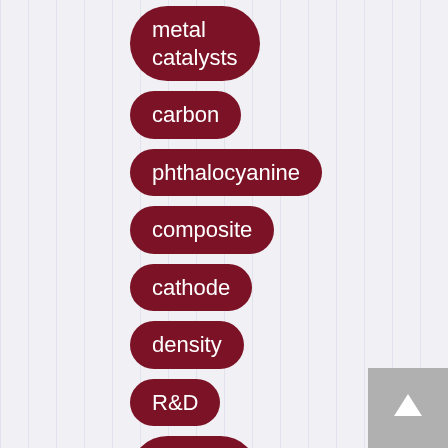metal catalysts
carbon
phthalocyanine
composite
cathode
density
R&D
takeover risk
risk premium
[Figure (other): Scroll-up navigation button (grey square with upward arrow)]